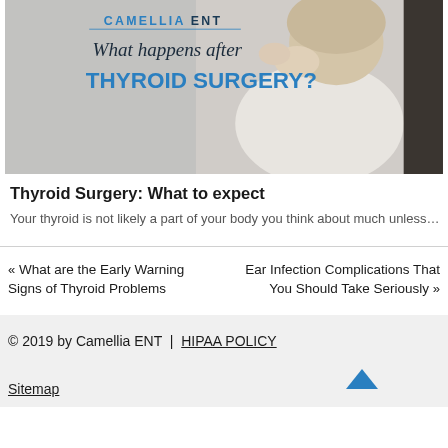[Figure (photo): Photo of a woman with hands near her face/throat, with text overlay: CAMELLIA ENT — What happens after THYROID SURGERY?]
Thyroid Surgery: What to expect
Your thyroid is not likely a part of your body you think about much unless…
« What are the Early Warning Signs of Thyroid Problems
Ear Infection Complications That You Should Take Seriously »
© 2019 by Camellia ENT | HIPAA POLICY
Sitemap